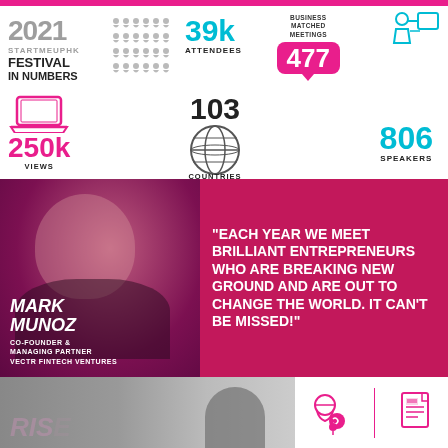[Figure (infographic): 2021 StartMeUpHK Festival in Numbers infographic showing: 39k attendees, 250k views, 103 countries, 477 business matched meetings, 806 speakers]
[Figure (photo): Mark Munoz headshot with magenta/pink color overlay on dark background]
MARK MUNOZ
CO-FOUNDER &
MANAGING PARTNER
VECTR FINTECH VENTURES
"EACH YEAR WE MEET BRILLIANT ENTREPRENEURS WHO ARE BREAKING NEW GROUND AND ARE OUT TO CHANGE THE WORLD. IT CAN'T BE MISSED!"
[Figure (photo): Bottom section showing a speaker on stage at RISE conference, grayscale photo, with contact/document icons on the right]